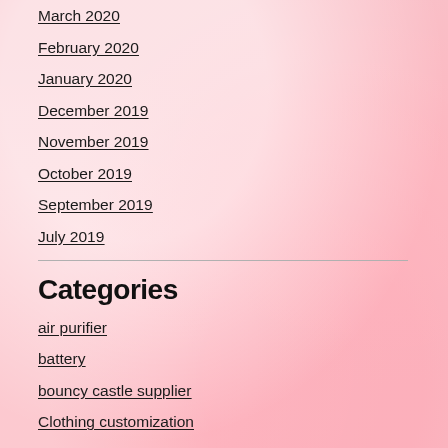March 2020
February 2020
January 2020
December 2019
November 2019
October 2019
September 2019
July 2019
Categories
air purifier
battery
bouncy castle supplier
Clothing customization
Dehydrated Vegetables
doll
electronic digital online games